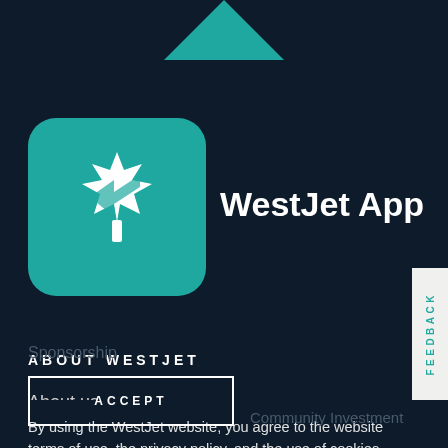[Figure (logo): WestJet app icon — teal rounded square with white maple leaf and stylized chevron/plane shape]
WestJet App
ABOUT WESTJET
About us
Awards
By using the WestJet website, you agree to the website terms of use, the privacy policy, and the use of cookies.
Sponsorship
Community Investment
ACCEPT